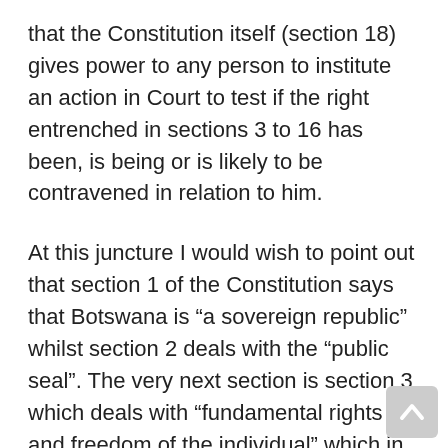that the Constitution itself (section 18) gives power to any person to institute an action in Court to test if the right entrenched in sections 3 to 16 has been, is being or is likely to be contravened in relation to him.
At this juncture I would wish to point out that section 1 of the Constitution says that Botswana is “a sovereign republic” whilst section 2 deals with the “public seal”. The very next section is section 3 which deals with “fundamental rights and freedom of the individual” which in my view suggests that it is a provision of extreme importance. It seems clear therefore that the construction of any section of the Constitution must begin from the premises that “every person in Botswana is entitled to the fundamental rights and freedoms of the individual”